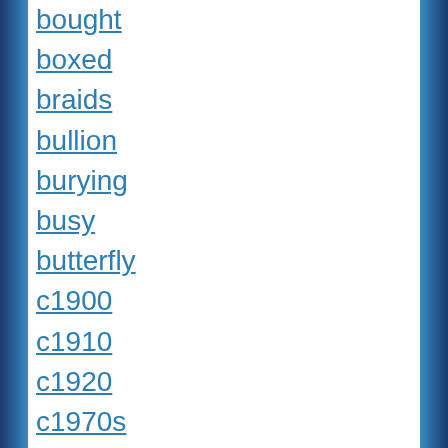bought
boxed
braids
bullion
burying
busy
butterfly
c1900
c1910
c1920
c1970s
c19th20th
c20th
cabal